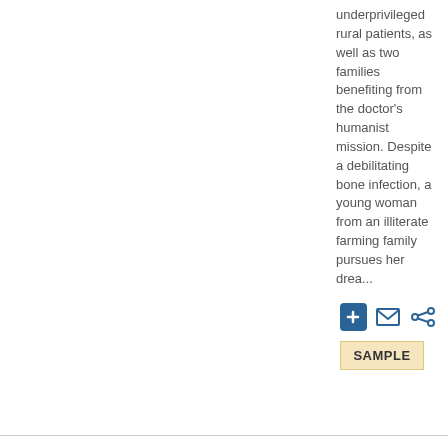underprivileged rural patients, as well as two families benefiting from the doctor's humanist mission. Despite a debilitating bone infection, a young woman from an illiterate farming family pursues her drea...
[Figure (infographic): Three icon buttons: a blue plus icon, a mail/envelope icon, and a share icon]
SAMPLE